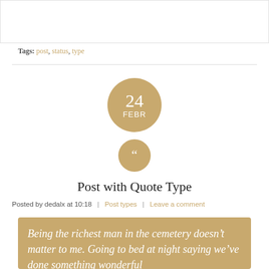[Figure (other): Top gray/white content box section (partially visible, cropped at top)]
Tags: post, status, type
[Figure (infographic): Gold circle with date: 24 FEBR, and gold circle with quotation mark icon]
Post with Quote Type
Posted by dedalx at 10:18 | Post types | Leave a comment
Being the richest man in the cemetery doesn’t matter to me. Going to bed at night saying we’ve done something wonderful